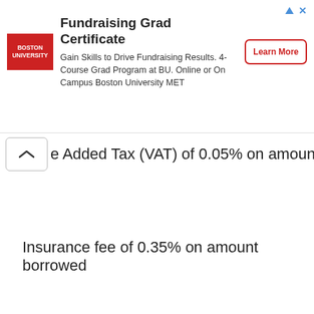[Figure (other): Boston University advertisement banner for Fundraising Grad Certificate program with logo, text, and Learn More button]
e Added Tax (VAT) of 0.05% on amount borrowed
Insurance fee of 0.35% on amount borrowed